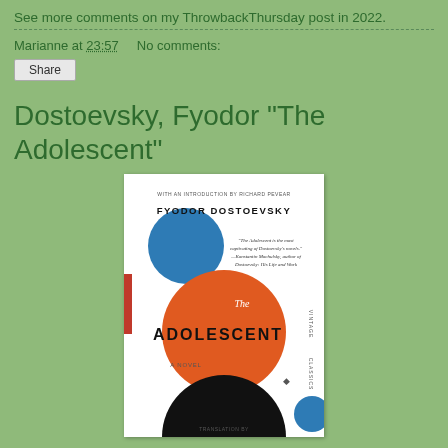See more comments on my ThrowbackThursday post in 2022.
Marianne at 23:57    No comments:
Share
Dostoevsky, Fyodor "The Adolescent"
[Figure (photo): Book cover of 'The Adolescent' by Fyodor Dostoevsky, Vintage Classics edition. White cover with a large blue circle at top left, a large orange circle in the middle, and a large black semicircle at the bottom. Text reads 'WITH AN INTRODUCTION BY RICHARD PEVEAR', 'FYODOR DOSTOEVSKY', quote about the book, 'THE ADOLESCENT', 'A NOVEL', 'TRANSLATION BY' at bottom.]